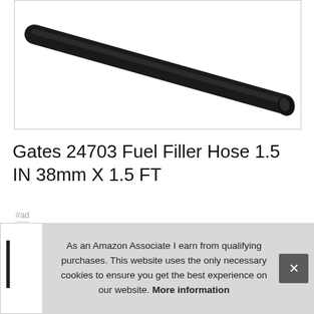[Figure (photo): Black cylindrical fuel filler hose tube shown diagonally on white background, thick at right end, tapers slightly, black color.]
Gates 24703 Fuel Filler Hose 1.5 IN 38mm X 1.5 FT
#ad
As an Amazon Associate I earn from qualifying purchases. This website uses the only necessary cookies to ensure you get the best experience on our website. More information